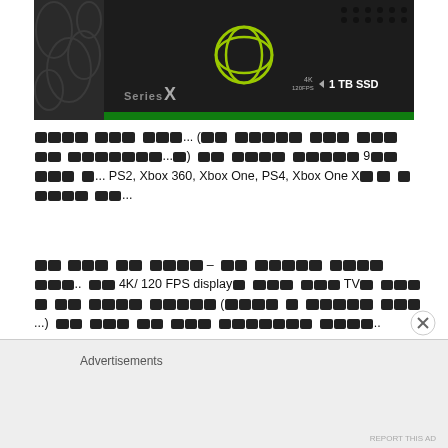[Figure (photo): Xbox Series X console box showing the Series X logo, Xbox logo, 4K 120FPS badge, and 1 TB SSD label on a dark background with decorative pattern on the left side.]
🟥🟥🟥🟥 🟥🟥🟥 🟥🟥🟥... (🟥🟥 🟥🟥🟥🟥🟥 🟥🟥🟥 🟥🟥🟥 🟥🟥 🟥🟥🟥🟥🟥🟥🟥...🟥) 🟥🟥 🟥🟥🟥🟥 🟥🟥🟥🟥🟥 9🟥🟥 🟥🟥🟥 🟥... PS2, Xbox 360, Xbox One, PS4, Xbox One X🟥 🟥 🟥 🟥🟥🟥🟥 🟥🟥...
🟥🟥 🟥🟥🟥 🟥🟥 🟥🟥🟥🟥 – 🟥🟥 🟥🟥🟥🟥🟥 🟥🟥🟥🟥 🟥🟥🟥.. 🟥🟥 4K/ 120 FPS display🟥 🟥🟥🟥 🟥🟥🟥 TV🟥 🟥🟥🟥 🟥 🟥🟥 🟥🟥🟥🟥 🟥🟥🟥🟥🟥 (🟥🟥🟥🟥 🟥 🟥🟥🟥🟥🟥 🟥🟥🟥...) 🟥🟥 🟥🟥🟥 🟥🟥 🟥🟥🟥 🟥🟥🟥🟥🟥🟥🟥 🟥🟥🟥🟥..
Advertisements